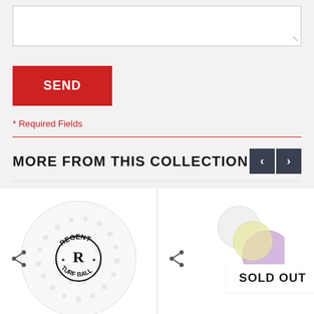[Figure (screenshot): Text area input box (empty, white background, resizable)]
SEND
* Required Fields
MORE FROM THIS COLLECTION
[Figure (photo): Regent Turf Ball golf ball, white with dimples and black logo]
[Figure (photo): Product image partially visible with SOLD OUT badge overlay]